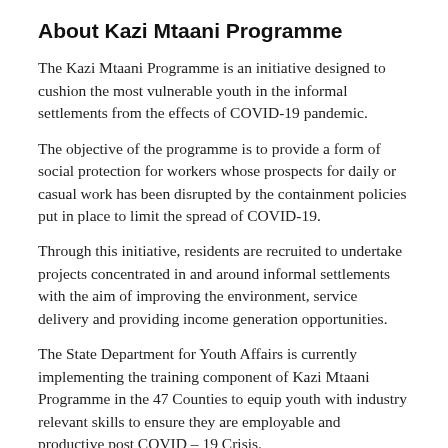About Kazi Mtaani Programme
The Kazi Mtaani Programme is an initiative designed to cushion the most vulnerable youth in the informal settlements from the effects of COVID-19 pandemic.
The objective of the programme is to provide a form of social protection for workers whose prospects for daily or casual work has been disrupted by the containment policies put in place to limit the spread of COVID-19.
Through this initiative, residents are recruited to undertake projects concentrated in and around informal settlements with the aim of improving the environment, service delivery and providing income generation opportunities.
The State Department for Youth Affairs is currently implementing the training component of Kazi Mtaani Programme in the 47 Counties to equip youth with industry relevant skills to ensure they are employable and productive post COVID – 19 Crisis.